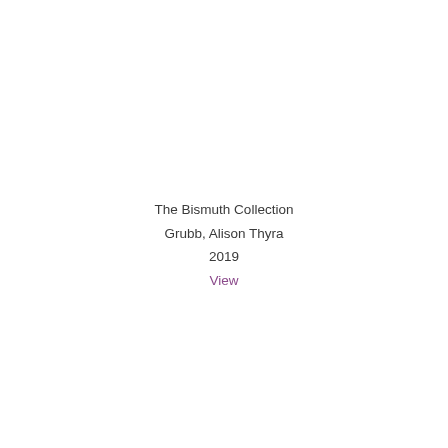The Bismuth Collection
Grubb, Alison Thyra
2019
View